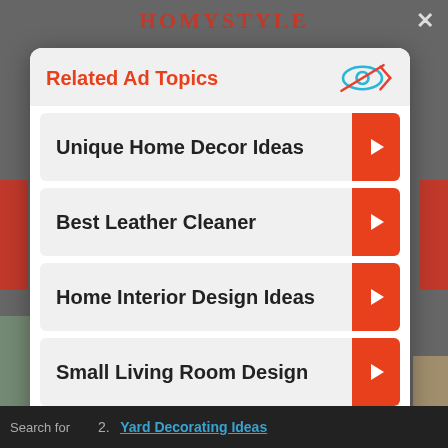HOMYSTYLE
✕
Related Ad Topics
Unique Home Decor Ideas
Best Leather Cleaner
Home Interior Design Ideas
Small Living Room Design
Continue to Site >>
Search for
2. Yard Decorating Ideas